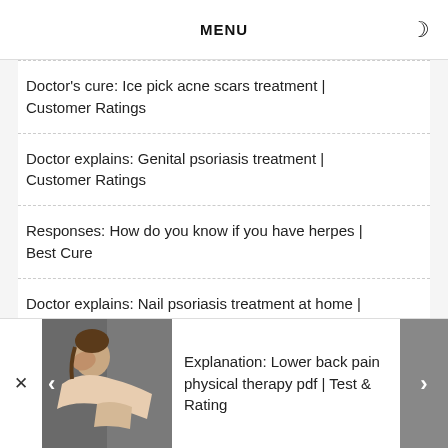MENU
Doctor's cure: Ice pick acne scars treatment | Customer Ratings
Doctor explains: Genital psoriasis treatment | Customer Ratings
Responses: How do you know if you have herpes | Best Cure
Doctor explains: Nail psoriasis treatment at home |
[Figure (photo): Person receiving back/neck massage or therapy]
Explanation: Lower back pain physical therapy pdf | Test & Rating